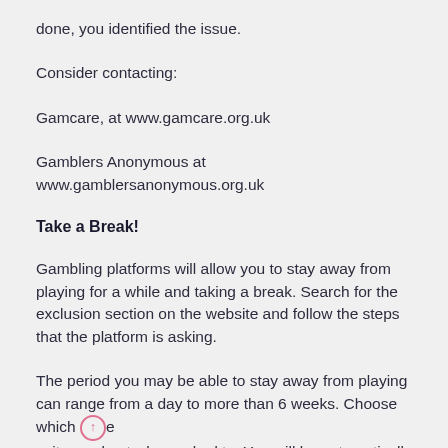done, you identified the issue.
Consider contacting:
Gamcare, at www.gamcare.org.uk
Gamblers Anonymous at www.gamblersanonymous.org.uk
Take a Break!
Gambling platforms will allow you to stay away from playing for a while and taking a break. Search for the exclusion section on the website and follow the steps that the platform is asking.
The period you may be able to stay away from playing can range from a day to more than 6 weeks. Choose which one suits you best when asked to. You will be automatically